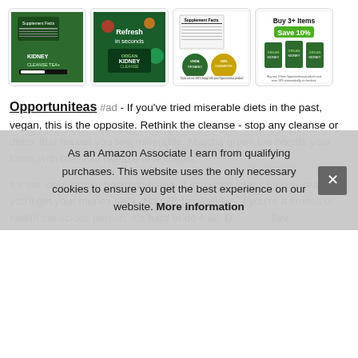[Figure (photo): Four product images showing Opportuniteas Organ Kidney Cleanse tea product: back of green bag with supplement facts, front promotional image showing 'Refresh in seconds' with Organ Kidney Cleanse branding, supplement facts and USDA Organic badge, and Buy 3+ Items Save 10% promotional image with three green bags.]
Opportuniteas #ad - If you've tried miserable diets in the past, vegan, this is the opposite. Rethink the cleanse - stop any cleanse or detox that makes you feel miserable. Matcha green tea boosts your focus with the slow release of nutrients.
It's the ideal kidney boosting blend. If you don't love it for any reason, you'll get your money back. No pills to swallow - if you're a fitness or health conscious person, it's hard to do it all. D[partially hidden] flav[partially hidden]
As an Amazon Associate I earn from qualifying purchases. This website uses the only necessary cookies to ensure you get the best experience on our website. More information